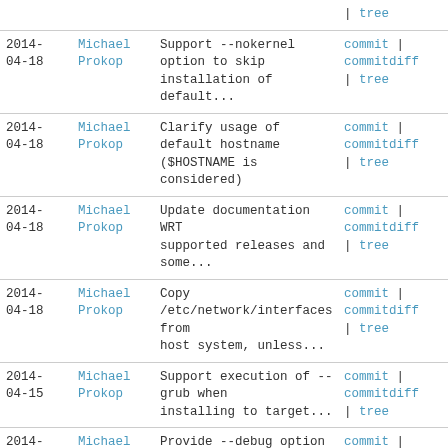| Date | Author | Commit message | Links |
| --- | --- | --- | --- |
|  |  |  | | tree |
| 2014-04-18 | Michael Prokop | Support --nokernel option to skip installation of default... | commit | commitdiff | tree |
| 2014-04-18 | Michael Prokop | Clarify usage of default hostname ($HOSTNAME is considered) | commit | commitdiff | tree |
| 2014-04-18 | Michael Prokop | Update documentation WRT supported releases and some... | commit | commitdiff | tree |
| 2014-04-18 | Michael Prokop | Copy /etc/network/interfaces from host system, unless... | commit | commitdiff | tree |
| 2014-04-15 | Michael Prokop | Support execution of --grub when installing to target... | commit | commitdiff | tree |
| 2014-04-15 | Michael Prokop | Provide --debug option for very verbose execution | commit | commitdiff | tree |
| 2014-04-15 | Michael Prokop | Switch default filesystem from ext3 to ext4 | commit | commitdiff |